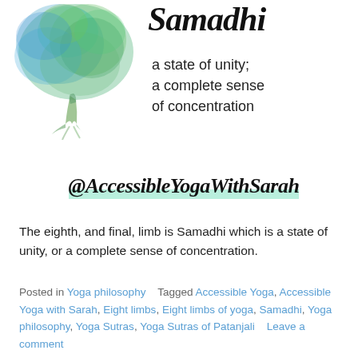[Figure (illustration): Watercolor painting of a tree with blue and green foliage, positioned in the upper left of the page]
Samadhi
a state of unity;
a complete sense
of concentration
@AccessibleYogaWithSarah
The eighth, and final, limb is Samadhi which is a state of unity, or a complete sense of concentration.
Posted in Yoga philosophy    Tagged Accessible Yoga, Accessible Yoga with Sarah, Eight limbs, Eight limbs of yoga, Samadhi, Yoga philosophy, Yoga Sutras, Yoga Sutras of Patanjali    Leave a comment